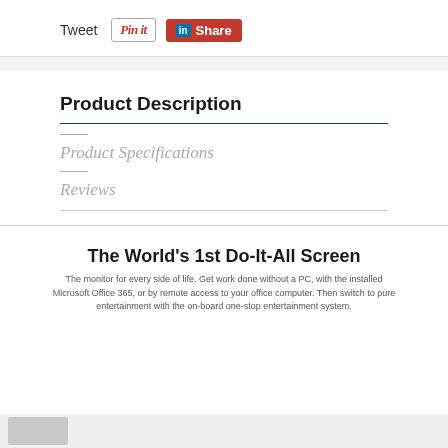[Figure (other): Social sharing buttons: Tweet text label, Pinterest Pin it button, LinkedIn Share button]
Product Description
Product Specifications
Reviews
The World's 1st Do-It-All Screen
The monitor for every side of life. Get work done without a PC, with the installed Microsoft Office 365, or by remote access to your office computer. Then switch to pure entertainment with the on-board one-stop entertainment system.